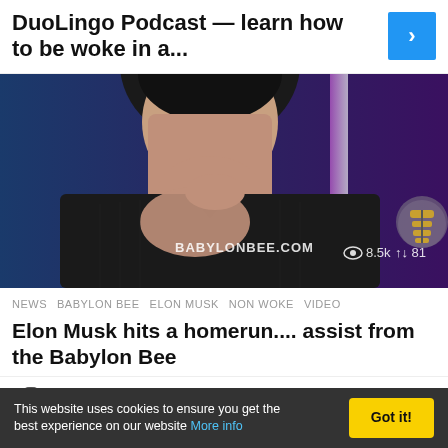DuoLingo Podcast — learn how to be woke in a...
[Figure (photo): Photo of a man (Elon Musk) in a dark shirt, chin resting on hand, against a blue/purple background. BABYLONBEE.COM watermark visible with stats: 8.5k views and 81 reposts. Babylon Bee logo in bottom right.]
NEWS   BABYLON BEE   ELON MUSK   NON WOKE   VIDEO
Elon Musk hits a homerun.... assist from the Babylon Bee
by Belzer
This website uses cookies to ensure you get the best experience on our website More info